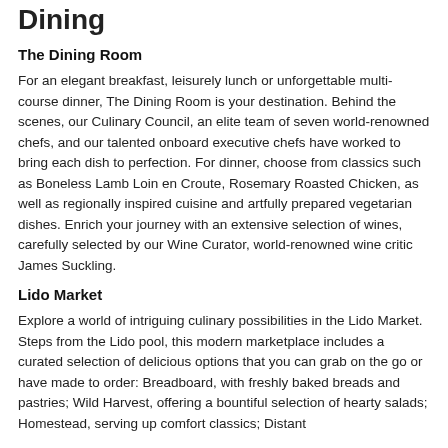Dining
The Dining Room
For an elegant breakfast, leisurely lunch or unforgettable multi-course dinner, The Dining Room is your destination. Behind the scenes, our Culinary Council, an elite team of seven world-renowned chefs, and our talented onboard executive chefs have worked to bring each dish to perfection. For dinner, choose from classics such as Boneless Lamb Loin en Croute, Rosemary Roasted Chicken, as well as regionally inspired cuisine and artfully prepared vegetarian dishes. Enrich your journey with an extensive selection of wines, carefully selected by our Wine Curator, world-renowned wine critic James Suckling.
Lido Market
Explore a world of intriguing culinary possibilities in the Lido Market. Steps from the Lido pool, this modern marketplace includes a curated selection of delicious options that you can grab on the go or have made to order: Breadboard, with freshly baked breads and pastries; Wild Harvest, offering a bountiful selection of hearty salads; Homestead, serving up comfort classics; Distant